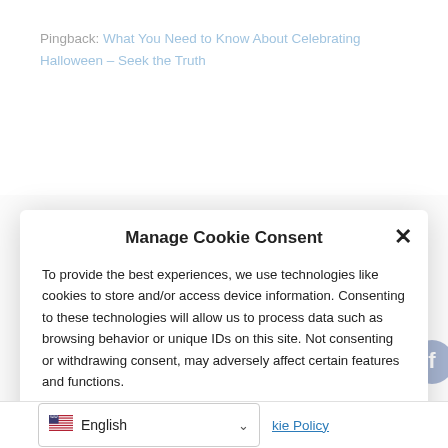Pingback: What You Need to Know About Celebrating Halloween – Seek the Truth
Pingback: Saved by the Grace of Jesus and Have Hope for Eternal Life – Seek the Truth
Manage Cookie Consent
To provide the best experiences, we use technologies like cookies to store and/or access device information. Consenting to these technologies will allow us to process data such as browsing behavior or unique IDs on this site. Not consenting or withdrawing consent, may adversely affect certain features and functions.
Accept
English
kie Policy